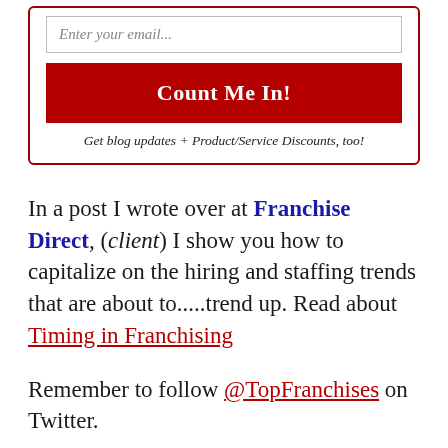[Figure (other): Email signup box with input field, 'Count Me In!' button in dark red, and italic note 'Get blog updates + Product/Service Discounts, too!']
In a post I wrote over at Franchise Direct, (client) I show you how to capitalize on the hiring and staffing trends that are about to.....trend up. Read about Timing in Franchising
Remember to follow @TopFranchises on Twitter.